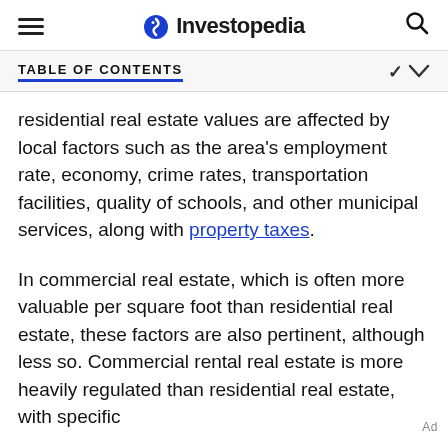Investopedia
TABLE OF CONTENTS
residential real estate values are affected by local factors such as the area's employment rate, economy, crime rates, transportation facilities, quality of schools, and other municipal services, along with property taxes.
In commercial real estate, which is often more valuable per square foot than residential real estate, these factors are also pertinent, although less so. Commercial rental real estate is more heavily regulated than residential real estate, with specific
Ad